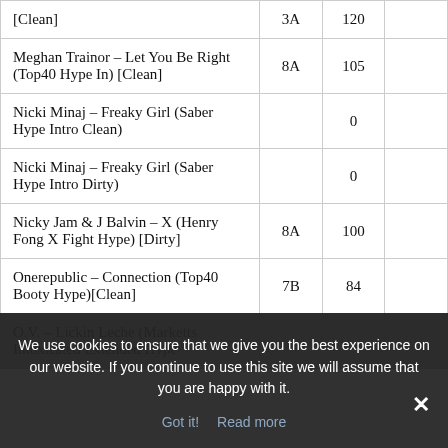| Track | Key | BPM |  |
| --- | --- | --- | --- |
| [Clean] | 3A | 120 |  |
| Meghan Trainor – Let You Be Right (Top40 Hype In) [Clean] | 8A | 105 |  |
| Nicki Minaj – Freaky Girl (Saber Hype Intro Clean) |  |  | 0 |
| Nicki Minaj – Freaky Girl (Saber Hype Intro Dirty) |  |  | 0 |
| Nicky Jam & J Balvin – X (Henry Fong X Fight Hype) [Dirty] | 8A | 100 |  |
| Onerepublic – Connection (Top40 Booty Hype)[Clean] | 7B | 84 |  |
| O.V. – Lickin Leche (Marketts Intoxicated Extended Hype |  |  |  |
We use cookies to ensure that we give you the best experience on our website. If you continue to use this site we will assume that you are happy with it.